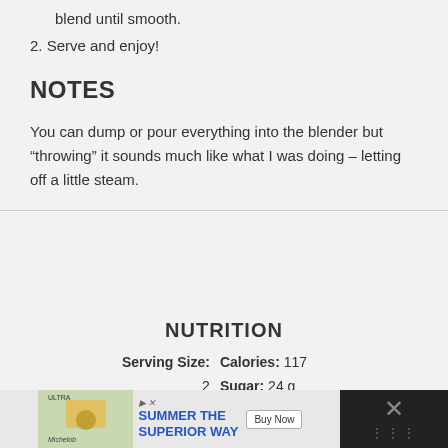blend until smooth.
2. Serve and enjoy!
NOTES
You can dump or pour everything into the blender but “throwing” it sounds much like what I was doing – letting off a little steam.
NUTRITION
| Serving Size: | Calories: 117 |
| 2 | Sugar: 24 g |
| Sodium: 25 | Carbohydrates: |
[Figure (infographic): Advertisement banner for Michelob Ultra with text SUMMER THE SUPERIOR WAY and a Buy Now button, on a dark background. An X close button is on the right.]